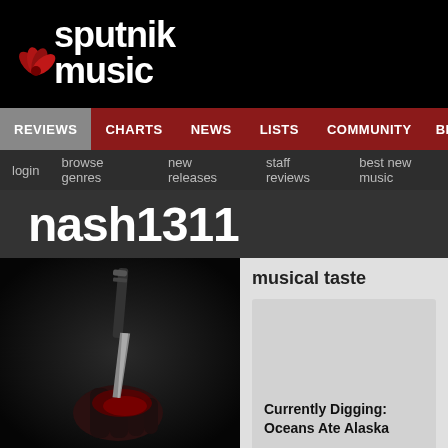[Figure (logo): Sputnik Music logo with red star/flower graphic, white bold text 'sputnik music' on black background]
REVIEWS   CHARTS   NEWS   LISTS   COMMUNITY   BLOG
login   browse genres   new releases   staff reviews   best new music
nash1311
[Figure (photo): Dark photo of a hand being stabbed by a knife, with blood, on black background]
musical taste
Currently Digging: Oceans Ate Alaska